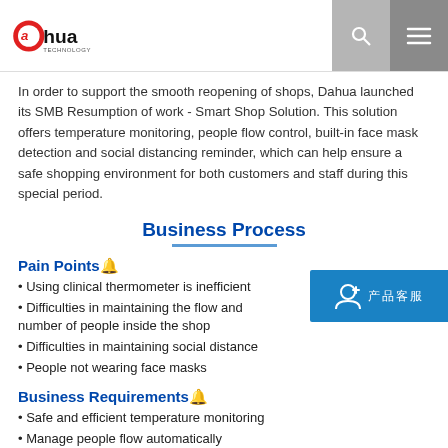Dahua Technology logo, search icon, menu icon
In order to support the smooth reopening of shops, Dahua launched its SMB Resumption of work - Smart Shop Solution. This solution offers temperature monitoring, people flow control, built-in face mask detection and social distancing reminder, which can help ensure a safe shopping environment for both customers and staff during this special period.
Business Process
Pain Points🔔
• Using clinical thermometer is inefficient
• Difficulties in maintaining the flow and number of people inside the shop
• Difficulties in maintaining social distance
• People not wearing face masks
Business Requirements🔔
• Safe and efficient temperature monitoring
• Manage people flow automatically
• Social distancing reminder
• Face mask detection